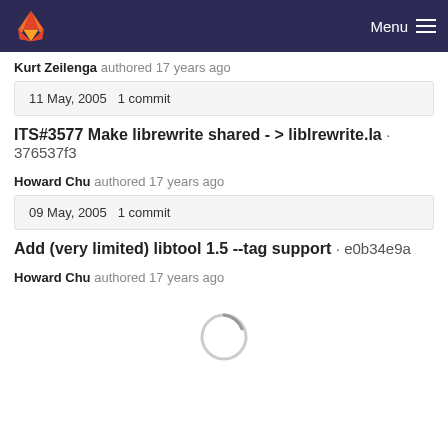GitLab navigation header with Menu
Kurt Zeilenga authored 17 years ago
11 May, 2005 1 commit
ITS#3577 Make librewrite shared - > liblrewrite.la · 376537f3
Howard Chu authored 17 years ago
09 May, 2005 1 commit
Add (very limited) libtool 1.5 --tag support · e0b34e9a
Howard Chu authored 17 years ago
[Figure (other): Loading spinner circle]